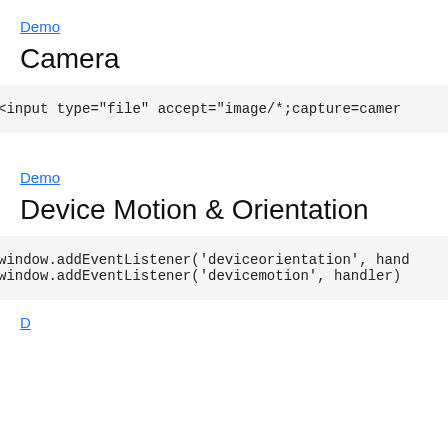Demo
Camera
<input type="file" accept="image/*;capture=camera…
Demo
Device Motion & Orientation
window.addEventListener('deviceorientation', hand…
window.addEventListener('devicemotion', handler)
Demo